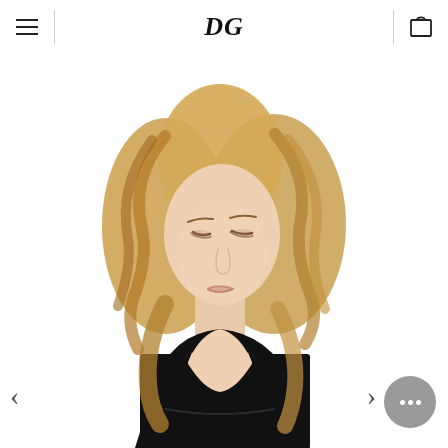DG — navigation header with hamburger menu, DG logo, and cart icon
[Figure (photo): A blonde female model with wavy shoulder-length hair, looking downward, wearing a black sleeveless deep-V neckline bodysuit/swimsuit. White background. Fashion product photo.]
[Figure (other): Chat/messaging bubble button in grey circle with three white dots, positioned bottom-right of image]
[Figure (other): Left navigation arrow (chevron) for image carousel]
[Figure (other): Right navigation arrow (chevron) for image carousel]